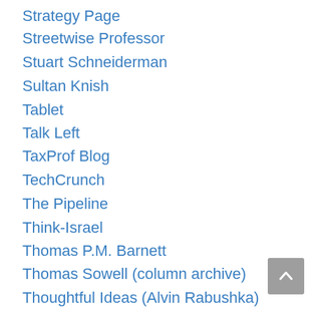Strategy Page
Streetwise Professor
Stuart Schneiderman
Sultan Knish
Tablet
Talk Left
TaxProf Blog
TechCrunch
The Pipeline
Think-Israel
Thomas P.M. Barnett
Thomas Sowell (column archive)
Thoughtful Ideas (Alvin Rabushka)